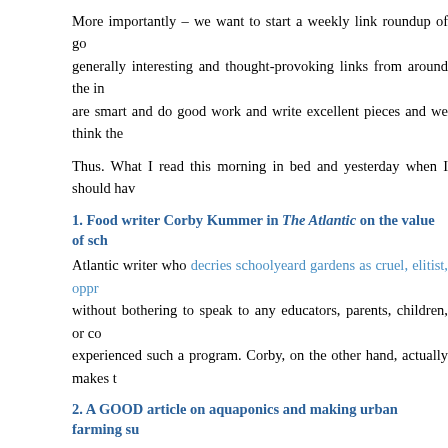More importantly – we want to start a weekly link roundup of generally interesting and thought-provoking links from around the internet who are smart and do good work and write excellent pieces and we think the
Thus. What I read this morning in bed and yesterday when I should hav
1. Food writer Corby Kummer in The Atlantic on the value of sch
Atlantic writer who decries schoolyeard gardens as cruel, elitist, oppr without bothering to speak to any educators, parents, children, or co experienced such a program. Corby, on the other hand, actually makes t
2. A GOOD article on aquaponics and making urban farming su
love Will Allen of Growing Power and his vertically integrated close programs. This article talks more about urban agriculture and intr Francisco-based company called Cityscape Farms seeking to devel transform the urban landscape by creating urban greenhouses. I trul thoughtful, sustainable yet also business-minded approaches that are g system for the better.
3. Another GOOD article – yeah, I like them – on how Better Mea